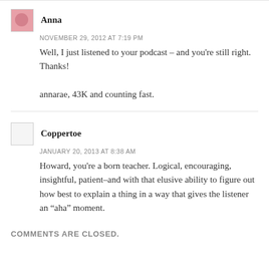Anna
NOVEMBER 29, 2012 AT 7:19 PM
Well, I just listened to your podcast – and you're still right. Thanks!

annarae, 43K and counting fast.
Coppertoe
JANUARY 20, 2013 AT 8:38 AM
Howard, you're a born teacher. Logical, encouraging, insightful, patient–and with that elusive ability to figure out how best to explain a thing in a way that gives the listener an “aha” moment.
COMMENTS ARE CLOSED.